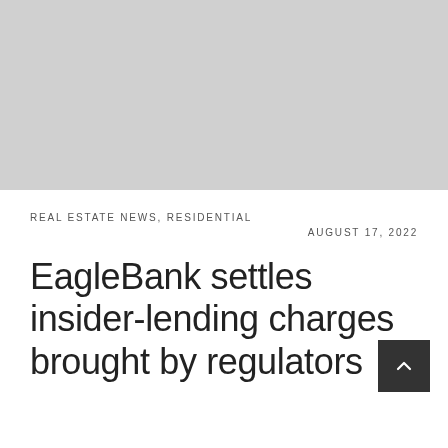[Figure (photo): Gray placeholder image area at top of article page]
REAL ESTATE NEWS, RESIDENTIAL
AUGUST 17, 2022
EagleBank settles insider-lending charges brought by regulators